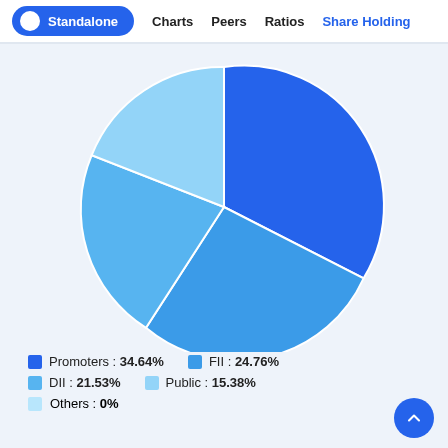Standalone  Charts  Peers  Ratios  Share Holding
[Figure (pie-chart): Share Holding]